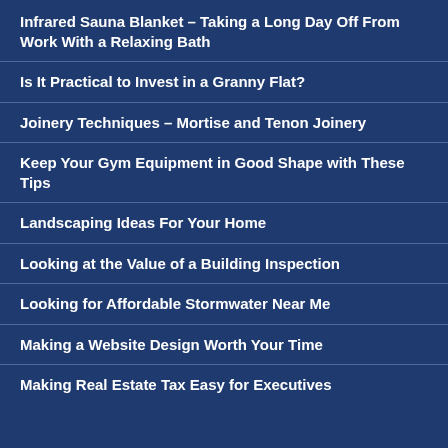Infrared Sauna Blanket – Taking a Long Day Off From Work With a Relaxing Bath
Is It Practical to Invest in a Granny Flat?
Joinery Techniques – Mortise and Tenon Joinery
Keep Your Gym Equipment in Good Shape with These Tips
Landscaping Ideas For Your Home
Looking at the Value of a Building Inspection
Looking for Affordable Stormwater Near Me
Making a Website Design Worth Your Time
Making Real Estate Tax Easy for Executives